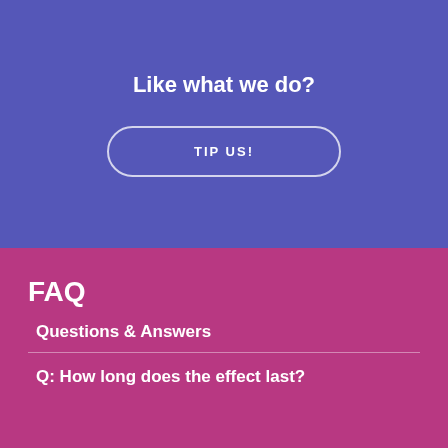Like what we do?
TIP US!
FAQ
Questions & Answers
Q: How long does the effect last?